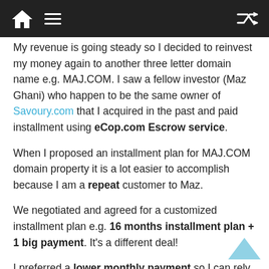Navigation bar with home icon, hamburger menu, and shuffle icon
My revenue is going steady so I decided to reinvest my money again to another three letter domain name e.g. MAJ.COM. I saw a fellow investor (Maz Ghani) who happen to be the same owner of Savoury.com that I acquired in the past and paid installment using eCop.com Escrow service.
When I proposed an installment plan for MAJ.COM domain property it is a lot easier to accomplish because I am a repeat customer to Maz.
We negotiated and agreed for a customized installment plan e.g. 16 months installment plan + 1 big payment. It's a different deal!
I preferred a lower monthly payment so I can rely on my Adsense revenue to pay mid-$$$ monthly and for the last payment I have to use my credit card to pay in